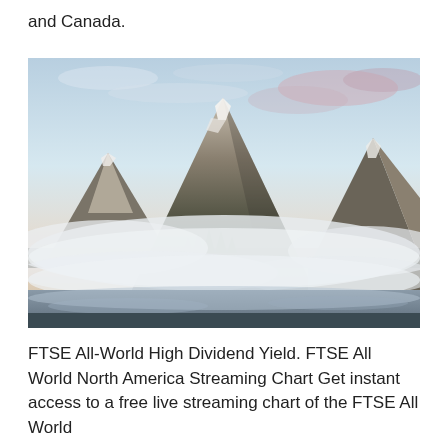and Canada.
[Figure (photo): Mountain landscape with rocky peaks above a layer of low clouds and mist, reflected in a calm lake below. Soft pastel sky with light clouds at dusk or dawn.]
FTSE All-World High Dividend Yield. FTSE All World North America Streaming Chart Get instant access to a free live streaming chart of the FTSE All World